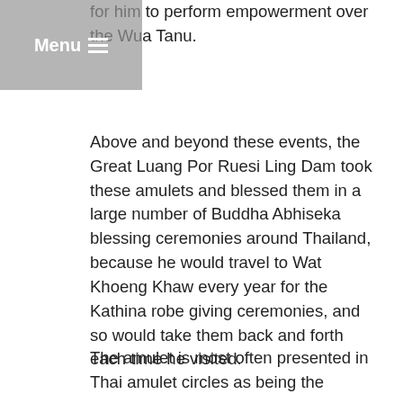for him to perform empowerment over the Wua Tanu.
Above and beyond these events, the Great Luang Por Ruesi Ling Dam took these amulets and blessed them in a large number of Buddha Abhiseka blessing ceremonies around Thailand, because he would travel to Wat Khoeng Khaw every year for the Kathina robe giving ceremonies, and so would take them back and forth each time he visited.
The amulet is most often presented in Thai amulet circles as being the